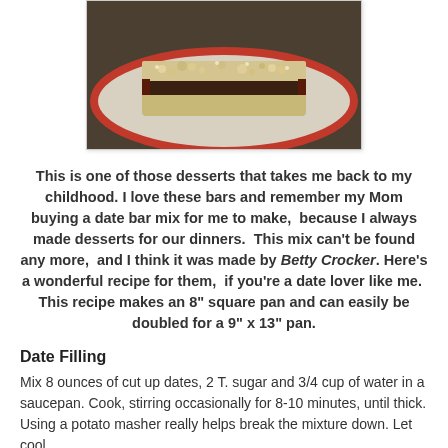[Figure (photo): A slice of date bar dessert on a decorative plate with red border pattern, showing crumble topping and dark date filling]
This is one of those desserts that takes me back to my childhood. I love these bars and remember my Mom buying a date bar mix for me to make,  because I always made desserts for our dinners.  This mix can't be found any more,  and I think it was made by Betty Crocker. Here's a wonderful recipe for them,  if you're a date lover like me.  This recipe makes an 8" square pan and can easily be doubled for a 9" x 13" pan.
Date Filling
Mix 8 ounces of cut up dates, 2 T. sugar and 3/4 cup of water in a saucepan. Cook, stirring occasionally for 8-10 minutes, until thick. Using a potato masher really helps break the mixture down. Let cool.